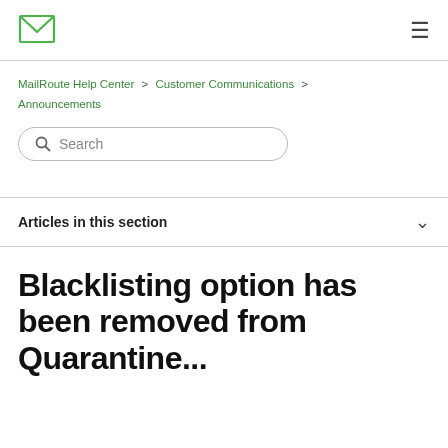[Figure (logo): MailRoute envelope logo — green outlined envelope icon]
MailRoute Help Center > Customer Communications > Announcements
Search
Articles in this section
Blacklisting option has been removed from Quarantine...